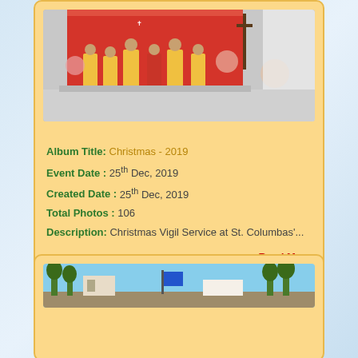[Figure (photo): Church ceremony photo showing priests in golden robes on a stage with a red decorated backdrop, flowers, and a cross]
Album Title: Christmas - 2019
Event Date : 25th Dec, 2019
Created Date : 25th Dec, 2019
Total Photos : 106
Description: Christmas Vigil Service at St. Columbas'...
»Read More
[Figure (photo): Outdoor photo showing a road or pathway with trees and a building in the background]